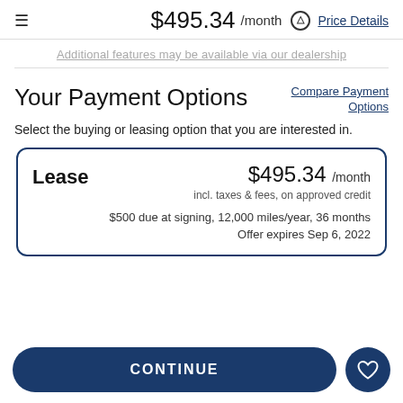$495.34 /month  Price Details
Additional features may be available via our dealership
Your Payment Options
Compare Payment Options
Select the buying or leasing option that you are interested in.
Lease  $495.34 /month  incl. taxes & fees, on approved credit  $500 due at signing, 12,000 miles/year, 36 months  Offer expires Sep 6, 2022
CONTINUE